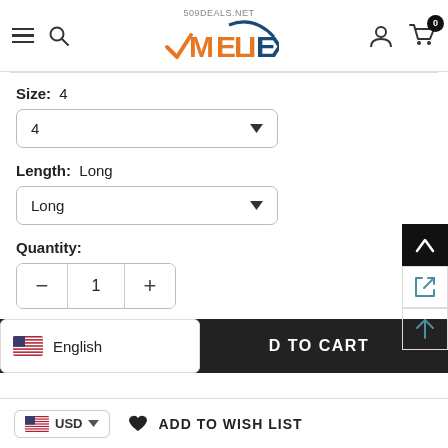509DEALS.NET MELIEX - navigation header with hamburger, search, logo, user, cart (0)
Size:  4
4 (dropdown)
Length:  Long
Long (dropdown)
Quantity:
- 1 +
ADD TO CART
English
USD  ADD TO WISH LIST